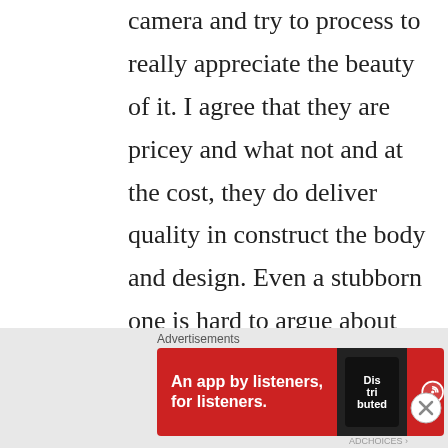camera and try to process to really appreciate the beauty of it. I agree that they are pricey and what not and at the cost, they do deliver quality in construct the body and design. Even a stubborn one is hard to argue about their lenses and amazing quality optics. If you are not into range finder, I suggest you rent an SL2 with M to L adapter and put on some fine quality M lens (35mm asph fle) for
Advertisements
[Figure (infographic): Red advertisement banner for Pocket Casts app. Left side says 'An app by listeners, for listeners.' in white bold text. Center shows a phone with 'Distributed' text on screen. Right side shows Pocket Casts logo and name in white.]